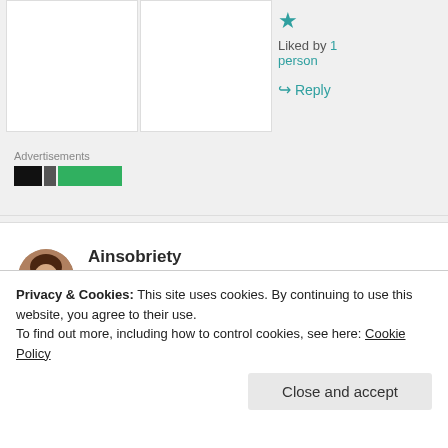Liked by 1 person
↪ Reply
Advertisements
Ainsobriety
2019-11-06 at 04:19
respect for alcohol and knows I will always come
Privacy & Cookies: This site uses cookies. By continuing to use this website, you agree to their use.
To find out more, including how to control cookies, see here: Cookie Policy
Close and accept